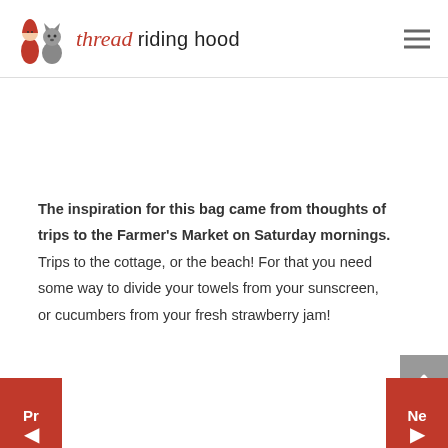thread riding hood
The inspiration for this bag came from thoughts of trips to the Farmer's Market on Saturday mornings. Trips to the cottage, or the beach! For that you need some way to divide your towels from your sunscreen, or cucumbers from your fresh strawberry jam!